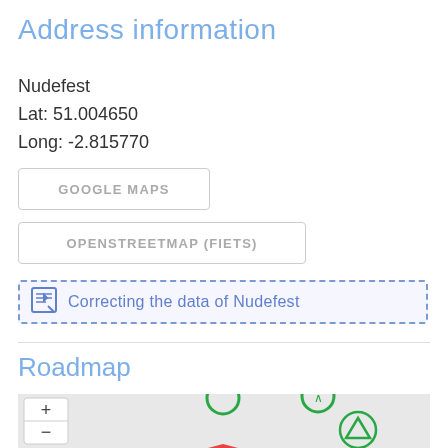Address information
Nudefest
Lat: 51.004650
Long: -2.815770
GOOGLE MAPS
OPENSTREETMAP (FIETS)
Correcting the data of Nudefest
Roadmap
[Figure (map): Roadmap showing geographic area with zoom controls (+/-) and green triangle markers and a red marker visible on the map]